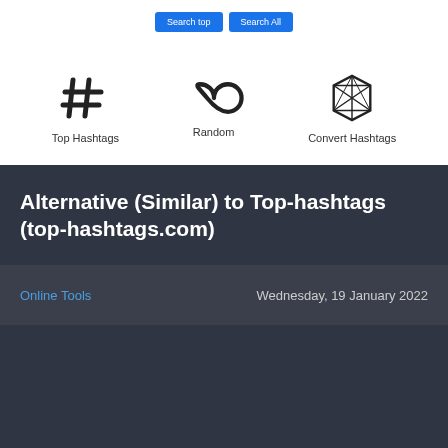[Figure (screenshot): Two blue buttons labeled 'Search top' and 'Search All']
[Figure (illustration): Three icons: hashtag symbol labeled 'Top Hashtags', infinity symbol labeled 'Random', geometric gem shape labeled 'Convert Hashtags']
Alternative (Similar) to Top-hashtags (top-hashtags.com)
Online Tools
Wednesday, 19 January 2022